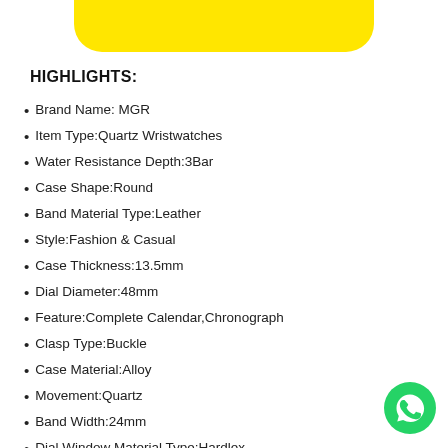[Figure (other): Yellow rounded banner at top of page]
HIGHLIGHTS:
Brand Name: MGR
Item Type:Quartz Wristwatches
Water Resistance Depth:3Bar
Case Shape:Round
Band Material Type:Leather
Style:Fashion & Casual
Case Thickness:13.5mm
Dial Diameter:48mm
Feature:Complete Calendar,Chronograph
Clasp Type:Buckle
Case Material:Alloy
Movement:Quartz
Band Width:24mm
Dial Window Material Type:Hardlex
[Figure (logo): WhatsApp green phone icon in bottom right corner]